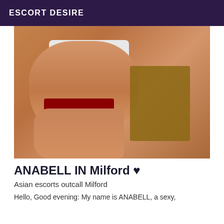ESCORT DESIRE
[Figure (photo): Photo of a person in white top and red underwear seated near a wooden chair, cropped to torso and legs]
ANABELL IN Milford ♥
Asian escorts outcall Milford
Hello, Good evening: My name is ANABELL, a sexy,